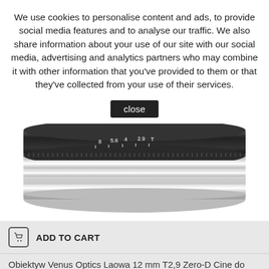We use cookies to personalise content and ads, to provide social media features and to analyse our traffic. We also share information about your use of our site with our social media, advertising and analytics partners who may combine it with other information that you've provided to them or that they've collected from your use of their services.
close
[Figure (photo): Close-up photo of a camera lens (Venus Optics Laowa 12mm T2.9 Zero-D Cine) showing the focus ring with aperture markings against a white background]
ADD TO CART
Obiektyw Venus Optics Laowa 12 mm T2,9 Zero-D Cine do Sony E
8 545,00 zł
Add to Compare